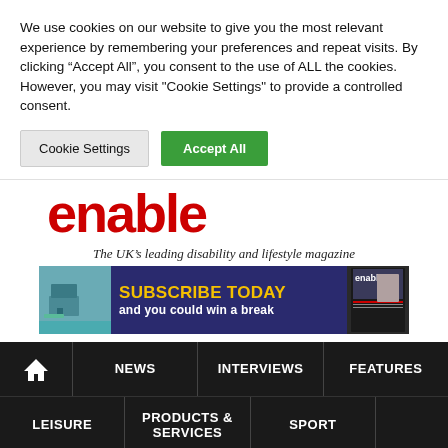We use cookies on our website to give you the most relevant experience by remembering your preferences and repeat visits. By clicking “Accept All”, you consent to the use of ALL the cookies. However, you may visit "Cookie Settings" to provide a controlled consent.
Cookie Settings
Accept All
[Figure (logo): Enable magazine logo - red stylized text]
The UK's leading disability and lifestyle magazine
[Figure (infographic): Subscribe today and you could win a break - navy blue banner with yellow text, magazine cover image on right]
[Figure (infographic): Navigation bar with: home icon, NEWS, INTERVIEWS, FEATURES, LEISURE, PRODUCTS & SERVICES, SPORT, MOTORING, EMPLOYMENT & EDUCATION on dark background]